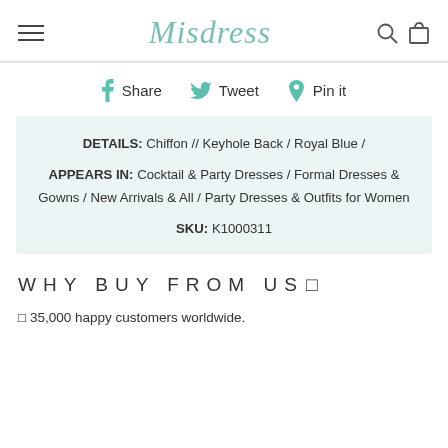Misdress
Share   Tweet   Pin it
DETAILS: Chiffon // Keyhole Back / Royal Blue / APPEARS IN: Cocktail & Party Dresses / Formal Dresses & Gowns / New Arrivals & All / Party Dresses & Outfits for Women SKU: K1000311
WHY BUY FROM US
35,000 happy customers worldwide.